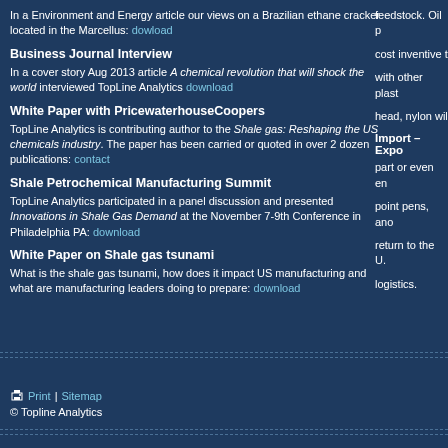In a Environment and Energy article our views on a Brazilian ethane cracker located in the Marcellus: dowload
Business Journal Interview
In a cover story Aug 2013 article A chemical revolution that will shock the world interviewed TopLine Analytics download
White Paper with PricewaterhouseCoopers
TopLine Analytics is contributing author to the Shale gas: Reshaping the US chemicals industry. The paper has been carried or quoted in over 2 dozen publications: contact
Shale Petrochemical Manufacturing Summit
TopLine Analytics participated in a panel discussion and presented Innovations in Shale Gas Demand at the November 7-9th Conference in Philadelphia PA: download
White Paper on Shale gas tsunami
What is the shale gas tsunami, how does it impact US manufacturing and what are manufacturing leaders doing to prepare: download
feedstock. Oil p
cost inventive t
with other plast
head, nylon wil
Import – Expo
part or even en
point pens, ano
return to the U.
logistics.
Print | Sitemap
© Topline Analytics